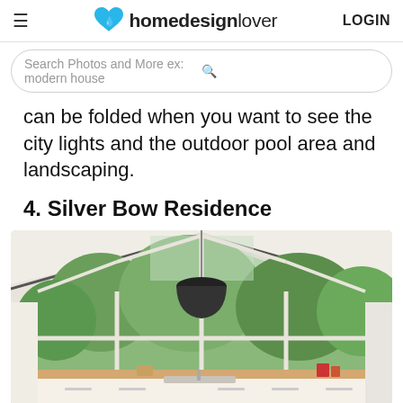homedesignlover  LOGIN
Search Photos and More ex: modern house
can be folded when you want to see the city lights and the outdoor pool area and landscaping.
4. Silver Bow Residence
[Figure (photo): Interior kitchen photo with large triangular/gabled window showing trees outside, black pendant light hanging from ceiling, white cabinetry, and wood countertops]